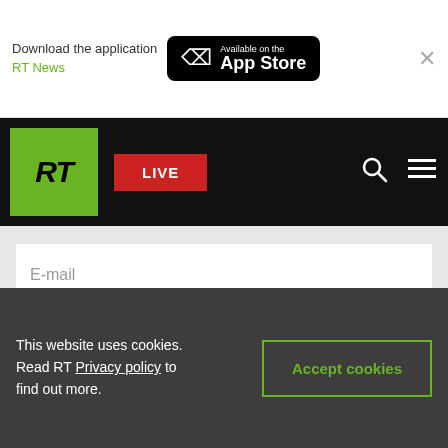Download the application RT News — Available on the App Store
[Figure (screenshot): RT News website navigation bar with RT logo (green), LIVE button (red), search icon, and hamburger menu on black background]
E-mail
We offer you the possibility to receive RT's news highlights every Monday, Wednesday and Friday by email.
Subscribe
This website uses cookies. Read RT Privacy policy to find out more.
Accept cookies